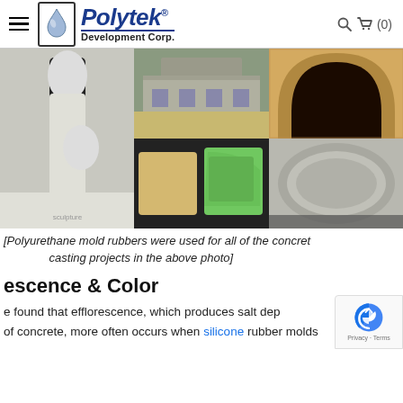Polytek Development Corp. — navigation header with hamburger menu and cart icon (0)
[Figure (photo): Grid of 6 photos showing concrete casting and mold projects: building exterior, person holding black mold with cherub statues, decorative arch detail, green foam mold with ornamental casting, full mold with statues, stamped concrete patio]
[Polyurethane mold rubbers were used for all of the concrete casting projects in the above photo]
escence & Color
e found that efflorescence, which produces salt dep
of concrete, more often occurs when silicone rubber molds